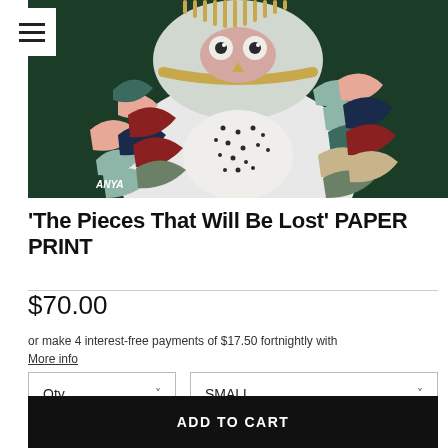[Figure (illustration): Painting of an owl with colorful patchwork-style body in teal, pink, peach, navy, olive, dark red tones on dark green background. Artist signature 'ANYA' at bottom left.]
'The Pieces That Will Be Lost' PAPER PRINT
$70.00
or make 4 interest-free payments of $17.50 fortnightly with More info
Qty
SMALL
ADD TO CART